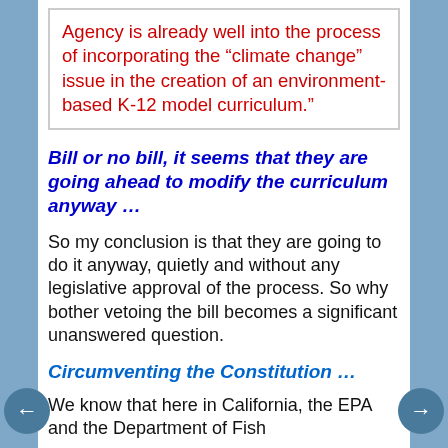Agency is already well into the process of incorporating the “climate change” issue in the creation of an environment-based K-12 model curriculum.”
Bill or no bill, it seems that they are going ahead to modify the curriculum anyway …
So my conclusion is that they are going to do it anyway, quietly and without any legislative approval of the process. So why bother vetoing the bill becomes a significant unanswered question.
Circumventing the Constitution …
We know that here in California, the EPA and the Department of Fish...